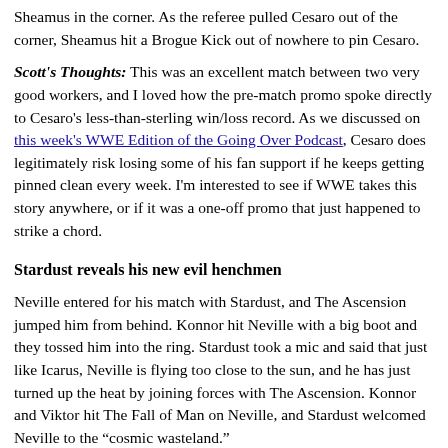...followed up with a brutal headlamp and beat down in Sheamus in the corner. As the referee pulled Cesaro out of the corner, Sheamus hit a Brogue Kick out of nowhere to pin Cesaro.
Scott's Thoughts: This was an excellent match between two very good workers, and I loved how the pre-match promo spoke directly to Cesaro's less-than-sterling win/loss record. As we discussed on this week's WWE Edition of the Going Over Podcast, Cesaro does legitimately risk losing some of his fan support if he keeps getting pinned clean every week. I'm interested to see if WWE takes this story anywhere, or if it was a one-off promo that just happened to strike a chord.
Stardust reveals his new evil henchmen
Neville entered for his match with Stardust, and The Ascension jumped him from behind. Konnor hit Neville with a big boot and they tossed him into the ring. Stardust took a mic and said that just like Icarus, Neville is flying too close to the sun, and he has just turned up the heat by joining forces with The Ascension. Konnor and Viktor hit The Fall of Man on Neville, and Stardust welcomed Neville to the “cosmic wasteland.”
Scott's Thoughts: That was really cool. The Ascension have been...